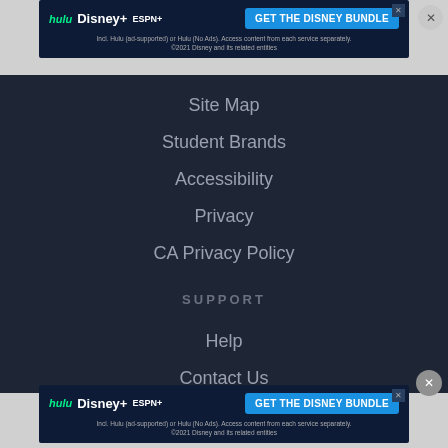[Figure (screenshot): Disney Bundle advertisement banner at top: Hulu, Disney+, ESPN+ logos with 'GET THE DISNEY BUNDLE' button. Fine print: Incl. Hulu (ad-supported) or Hulu (No Ads). Access content from each service separately. ©2021 Disney and its related entities]
Site Map
Student Brands
Accessibility
Privacy
CA Privacy Policy
SUPPORT
Help
Contact Us
CA Do Not Sell My Personal Information
[Figure (screenshot): Disney Bundle advertisement banner at bottom: Hulu, Disney+, ESPN+ logos with 'GET THE DISNEY BUNDLE' button. Fine print: Incl. Hulu (ad-supported) or Hulu (No Ads). Access content from each service separately. ©2021 Disney and its related entities]